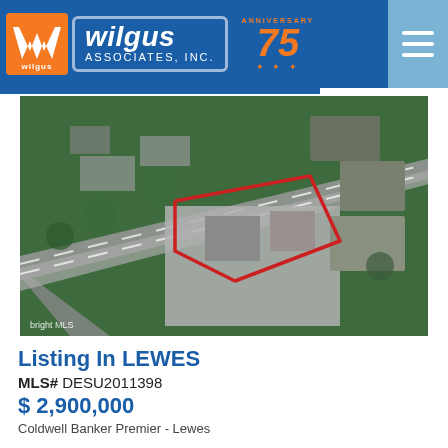[Figure (logo): Wilgus Associates Inc. company logo with orange W icon, blue badge with wilgus associates inc. text, and 75th anniversary badge]
[Figure (photo): Aerial satellite view of a commercial property in Lewes with a red outline marking the lot boundaries, surrounded by roads and neighboring buildings]
Listing In LEWES
MLS# DESU2011398
$ 2,900,000
Coldwell Banker Premier - Lewes